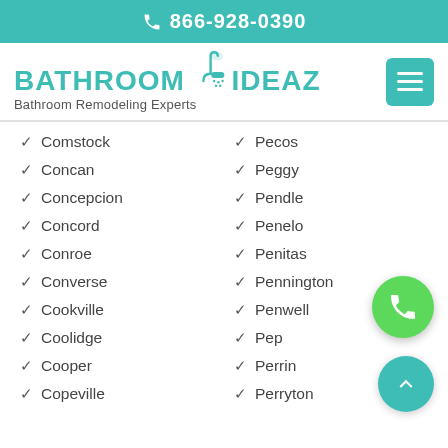866-928-0390
[Figure (logo): Bathroom Ideaz logo with shower head icon and tagline 'Bathroom Remodeling Experts']
Comstock
Pecos
Concan
Peggy
Concepcion
Pendleton
Concord
Penelope
Conroe
Penitas
Converse
Pennington
Cookville
Penwell
Coolidge
Pep
Cooper
Perrin
Copeville
Perryton